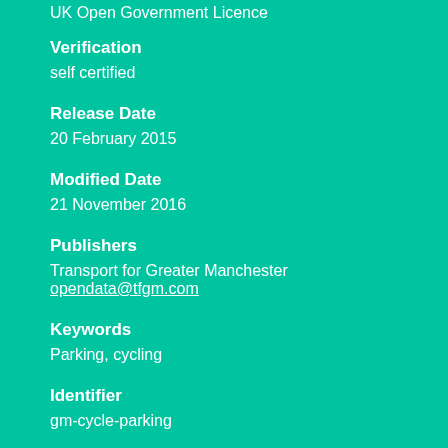UK Open Government Licence
Verification
self certified
Release Date
20 February 2015
Modified Date
21 November 2016
Publishers
Transport for Greater Manchester
opendata@tfgm.com
Keywords
Parking, cycling
Identifier
gm-cycle-parking
Landing Page